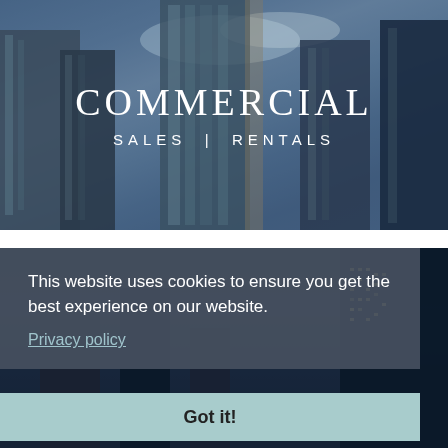[Figure (photo): Upward-angle photograph of tall glass commercial skyscrapers against a blue sky with clouds, with a dark blue overlay tint]
COMMERCIAL
SALES | RENTALS
[Figure (photo): Photograph of a city skyline at dusk/night showing tall commercial buildings]
This website uses cookies to ensure you get the best experience on our website.
Privacy policy
Got it!